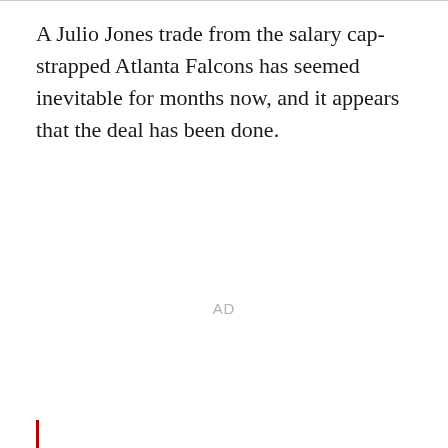A Julio Jones trade from the salary cap-strapped Atlanta Falcons has seemed inevitable for months now, and it appears that the deal has been done.
AD